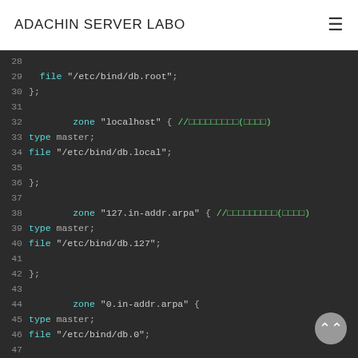ADACHIN SERVER LABO
[Figure (screenshot): Code editor screenshot showing BIND DNS configuration file (named.conf) lines 28-53, with syntax highlighting on a dark background. Lines show zone definitions for localhost, 127.in-addr.arpa, 0.in-addr.arpa, and 255.in-addr.arpa with type master and file directives.]